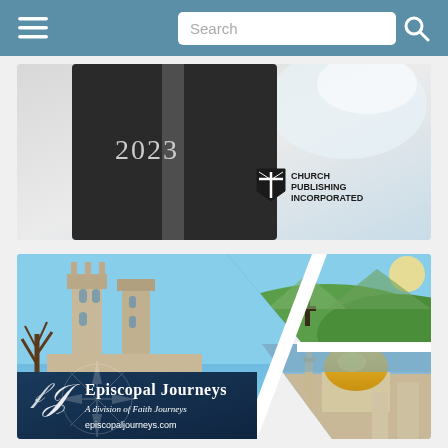Search
[Figure (photo): Church Publishing Incorporated advertisement showing a black 2023 journal/planner with elastic band on a white marble background, with Church Publishing Incorporated shield logo in lower right]
[Figure (photo): Episcopal Journeys advertisement showing collage of travel destination photos: Westminster Abbey (UK), green hillside landscape, Dome of the Rock Jerusalem, with Episcopal Journeys logo and tagline 'A division of Faith Journeys' and website episcopaljourneys.com on dark navy blue compass-rose background]